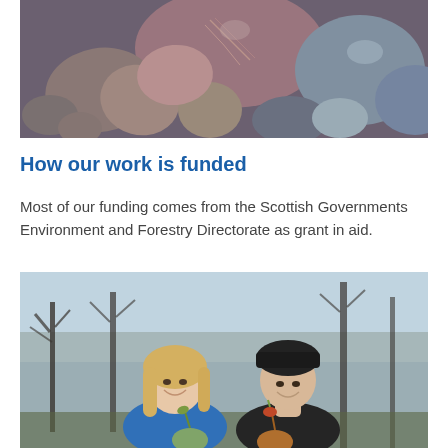[Figure (photo): Close-up photograph of smooth, rounded pebbles and stones in various shades of grey, brown, and pink]
How our work is funded
Most of our funding comes from the Scottish Governments Environment and Forestry Directorate as grant in aid.
[Figure (photo): Two young women smiling outdoors, holding plants with bare trees in background. One wears a blue jacket, the other a black beanie hat and dark jacket.]